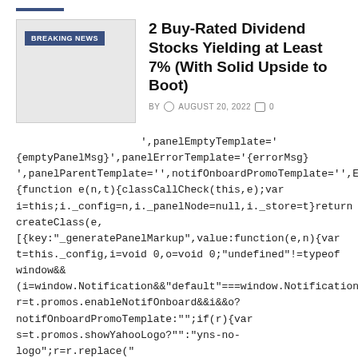[Figure (photo): Thumbnail image placeholder with BREAKING NEWS badge overlay]
2 Buy-Rated Dividend Stocks Yielding at Least 7% (With Solid Upside to Boot)
BY  AUGUST 20, 2022  0
',panelEmptyTemplate=' {emptyPanelMsg}',panelErrorTemplate='{errorMsg}',panelParentTemplate='',notifOnboardPromoTemplate='',EXPAN{function e(n,t){classCallCheck(this,e);var i=this;i._config=n,i._panelNode=null,i._store=t}return createClass(e,[{key:"_generatePanelMarkup",value:function(e,n){var t=this._config,i=void 0,o=void 0;"undefined"!=typeof window&&(i=window.Notification&&"default"===window.Notification.permi r=t.promos.enableNotifOnboard&&i&&o?notifOnboardPromoTemplate:"";if(r){var s=t.promos.showYahooLogo?"":"yns-no-logo";r=r.replace("{notifOnboardBtnLabel}",t.promos.notifOnboardBtnLabel).repl {notifOnboardMsg}",t.promos.notifOnboardMsg).replace("